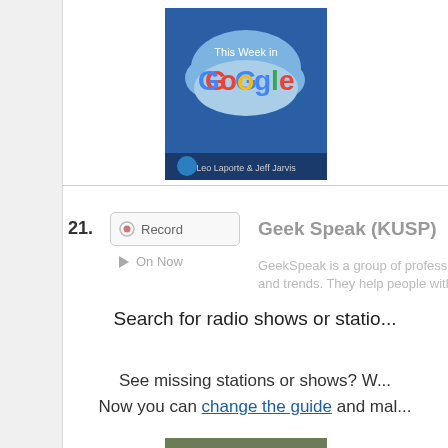[Figure (screenshot): Screenshot of a radio guide web page showing item 21 Geek Speak (KUSP) with Record and On Now buttons, a GeekSpeak logo image, and footer text about searching and editing the guide.]
21. Geek Speak (KUSP)
GeekSpeak is a group of professional ge... and trends. They help people with such t...
Search for radio shows or statio...
See missing stations or shows? W... Now you can change the guide and mal...